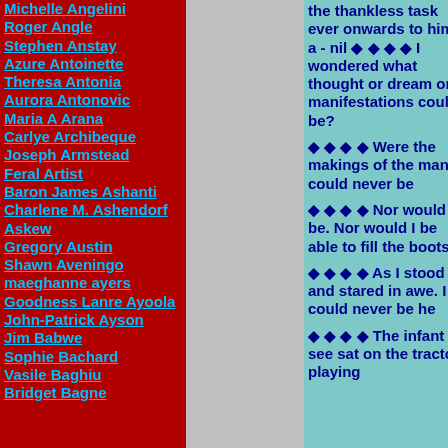Michelle Angelini
Roger Angle
Stephen Anstay
Azure Antoinette
Theresa Antonia
Aurora Antonovic
Maria A Arana
Carlye Archibeque
Joseph Armstead
Feral Artist
Baron James Ashanti
Charlene M. Ashendorf
Askew
Gregory Austin
Shawn Aveningo
maeghanne ayers
Goodness Lanre Ayoola
John-Patrick Ayson
Jim Babwe
Sophie Bachard
Vasile Baghiu
Bridget Bagne
the thankless task ever onwards to him a - nil ���� I wondered what thought or dream or manifestations could be?
���� Were the makings of the man I could never be
���� Nor would I be. Nor would I be able to fill the boots
���� As I stood and stared in awe. I could never be he
���� The infant I see sat on the tractor playing